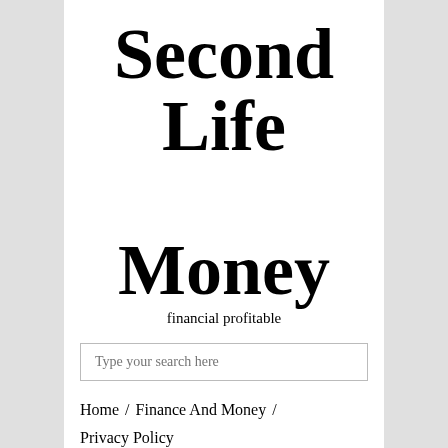Second Life Money
financial profitable
Type your search here
Home / Finance And Money / Privacy Policy
DMCA Policy / Terms of Use